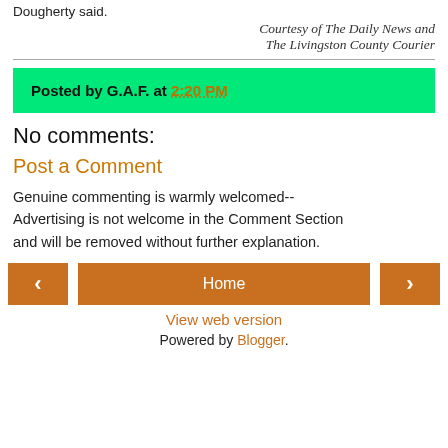Dougherty said.
Courtesy of The Daily News and The Livingston County Courier
Posted by G.A.F. at 2:20 PM
No comments:
Post a Comment
Genuine commenting is warmly welcomed-- Advertising is not welcome in the Comment Section and will be removed without further explanation.
Home
View web version
Powered by Blogger.